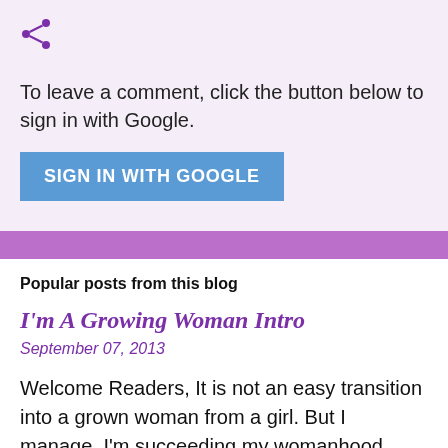[Figure (illustration): Purple share icon (less-than symbol with three dots)]
To leave a comment, click the button below to sign in with Google.
SIGN IN WITH GOOGLE
Popular posts from this blog
I'm A Growing Woman Intro
September 07, 2013
Welcome Readers, It is not an easy transition into a grown woman from a girl. But I manage. I'm succeeding my womanhood, individuality, and